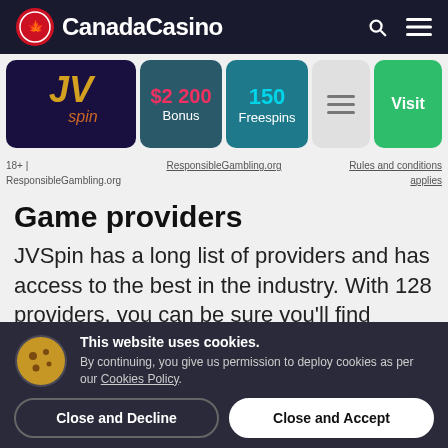CanadaCasino
[Figure (screenshot): JVSpin casino banner with $2 200 Bonus, 150 Freespins, and Visit button]
18+ | ResponsibleGambling.org   ResponsibleGambling.org   Rules and conditions applies
Game providers
JVSpin has a long list of providers and has access to the best in the industry. With 128 providers, you can be sure you'll find
This website uses cookies. By continuing, you give us permission to deploy cookies as per our Cookies Policy.
Close and Decline   Close and Accept